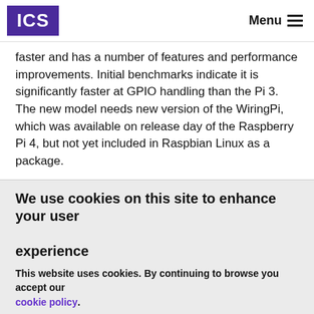ICS | Menu
faster and has a number of features and performance improvements. Initial benchmarks indicate it is significantly faster at GPIO handling than the Pi 3. The new model needs new version of the WiringPi, which was available on release day of the Raspberry Pi 4, but not yet included in Raspbian Linux as a package.
We use cookies on this site to enhance your user experience
This website uses cookies. By continuing to browse you accept our cookie policy.
OK, I agree